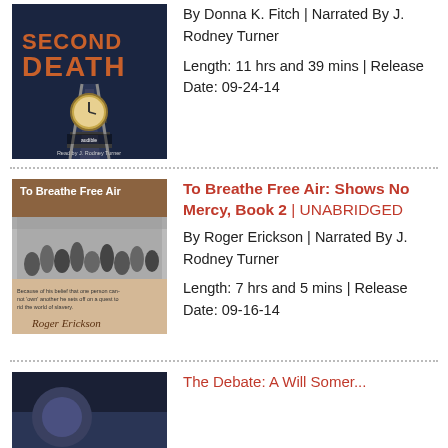[Figure (photo): Audiobook cover for 'Second Death' showing dark train tracks and a clock, with text 'Read by J. Rodney Turner']
By Donna K. Fitch | Narrated By J. Rodney Turner
Length: 11 hrs and 39 mins | Release Date: 09-24-14
[Figure (photo): Audiobook cover for 'To Breathe Free Air' showing historical figures and subtitle about slavery, by Roger Erickson]
To Breathe Free Air: Shows No Mercy, Book 2 | UNABRIDGED
By Roger Erickson | Narrated By J. Rodney Turner
Length: 7 hrs and 5 mins | Release Date: 09-16-14
[Figure (photo): Partial audiobook cover visible at bottom of page, dark tones]